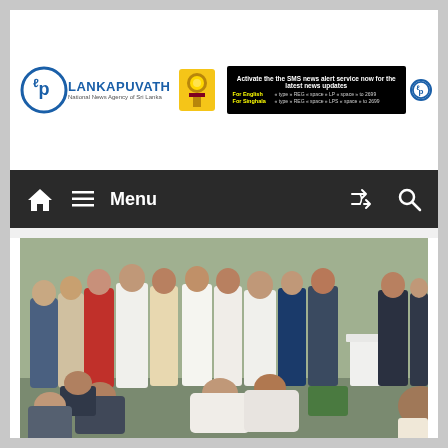[Figure (logo): Lankapuvath National News Agency of Sri Lanka logo with circular LP emblem, text LANKAPUVATH, Sri Lanka national emblem, and SMS news alert service banner]
Menu (navigation bar with home icon, hamburger menu, Menu label, shuffle icon, search icon)
[Figure (photo): Outdoor group photo showing people at an event, some bowing or bending down, others standing. People in formal and traditional attire.]